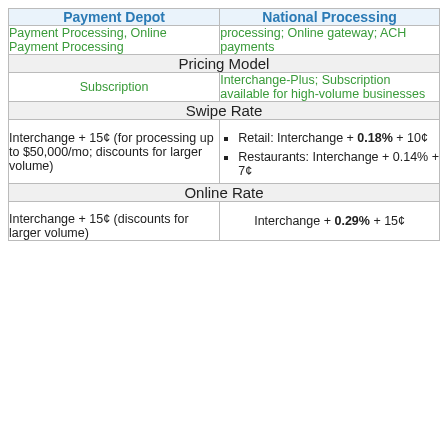| Payment Depot | National Processing |
| --- | --- |
| Payment Processing, Online Payment Processing | processing; Online gateway; ACH payments |
| Pricing Model | Pricing Model |
| Subscription | Interchange-Plus; Subscription available for high-volume businesses |
| Swipe Rate | Swipe Rate |
| Interchange + 15¢ (for processing up to $50,000/mo; discounts for larger volume) | Retail: Interchange + 0.18% + 10¢
Restaurants: Interchange + 0.14% + 7¢ |
| Online Rate | Online Rate |
| Interchange + 15¢ (discounts for larger volume) | Interchange + 0.29% + 15¢ |